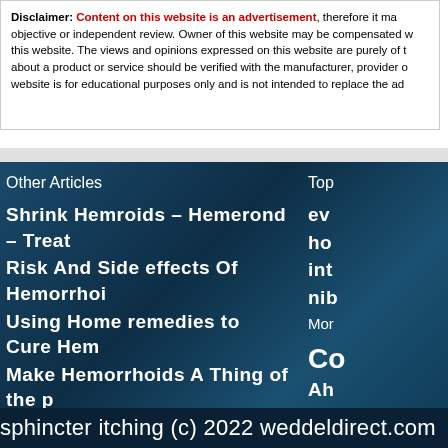Disclaimer: Content on this website is an advertisement, therefore it may not be objective or independent review. Owner of this website may be compensated for promoting this website. The views and opinions expressed on this website are purely of the owner. Any claims about a product or service should be verified with the manufacturer, provider or party in question. This website is for educational purposes only and is not intended to replace the ad...
Other Articles
Shrink Hemroids – Hemerond – Treat
Risk And Side effects Of Hemorrhoi
Using Home remedies to Cure Hem
Make Hemorrhoids A Thing of the p
Hemorrhoids – the Ugly Truth About
Top
ev
ho
int
nib
Mor
Co
Ah
Dr
Ro
Si
sphincter itching (c) 2022 weddeldirect.com